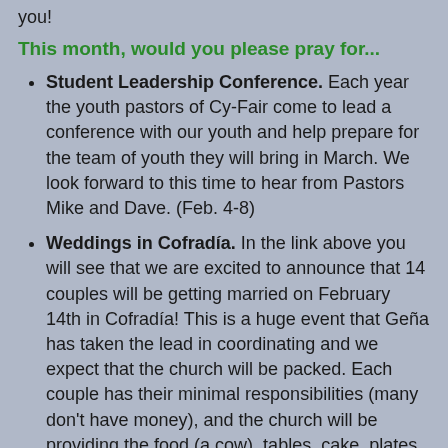you!
This month, would you please pray for...
Student Leadership Conference. Each year the youth pastors of Cy-Fair come to lead a conference with our youth and help prepare for the team of youth they will bring in March. We look forward to this time to hear from Pastors Mike and Dave. (Feb. 4-8)
Weddings in Cofradía. In the link above you will see that we are excited to announce that 14 couples will be getting married on February 14th in Cofradía! This is a huge event that Geña has taken the lead in coordinating and we expect that the church will be packed. Each couple has their minimal responsibilities (many don't have money), and the church will be providing the food (a cow), tables, cake, plates, etc. Click on the link for more information on what this is about, who the couples are, and how you can be involved. At this point, we have received $1000 in donations and are asking for $1000...